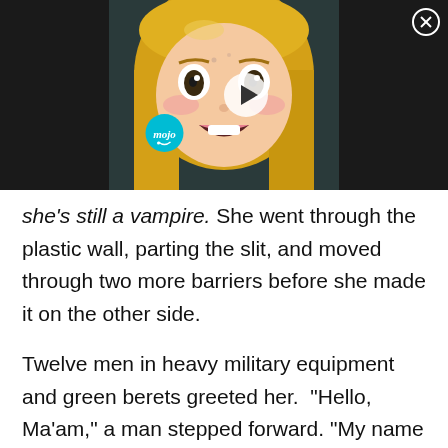[Figure (screenshot): Video thumbnail showing an anime character with blonde hair and wide open mouth, with a play button overlay and 'mojo' branding badge in the lower left area. Close button (X in circle) in upper right corner. Dark background.]
she's still a vampire. She went through the plastic wall, parting the slit, and moved through two more barriers before she made it on the other side.
Twelve men in heavy military equipment and green berets greeted her.  "Hello, Ma'am," a man stepped forward. "My name is Captain Mateo Garcia Herrero; we'll be your escort."